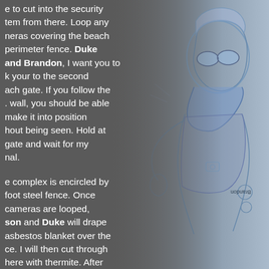e to cut into the security tem from there. Loop any neras covering the beach perimeter fence. Duke and Brandon, I want you to k your to the second ach gate. If you follow the . wall, you should be able make it into position hout being seen. Hold at gate and wait for my nal.
e complex is encircled by foot steel fence. Once cameras are looped, son and Duke will drape asbestos blanket over the ce. I will then cut through here with thermite. After
[Figure (illustration): Blue and white pencil/ink sketch illustration of a character (Brandon) depicted in action pose, wearing goggles and tactical gear, with annotation label 'Brandon' visible on the artwork.]